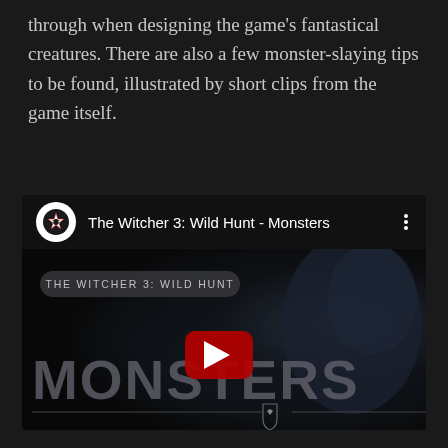through when designing the game's fantastical creatures. There are also a few monster-slaying tips to be found, illustrated by short clips from the game itself.
[Figure (screenshot): YouTube video embed showing 'The Witcher 3: Wild Hunt - Monsters' video with a red play button overlay, the channel icon (Witcher medallion), video title in header, and thumbnail showing 'MONSTERS' text with creature imagery and Witcher 3 Wild Hunt branding label.]